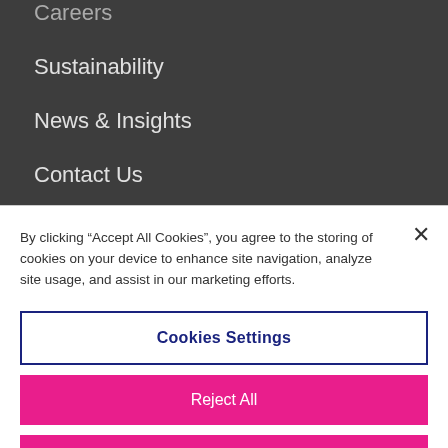Careers
Sustainability
News & Insights
Contact Us
Policies and Help
Anti-Slavery Policy
By clicking “Accept All Cookies”, you agree to the storing of cookies on your device to enhance site navigation, analyze site usage, and assist in our marketing efforts.
Cookies Settings
Reject All
Accept All Cookies